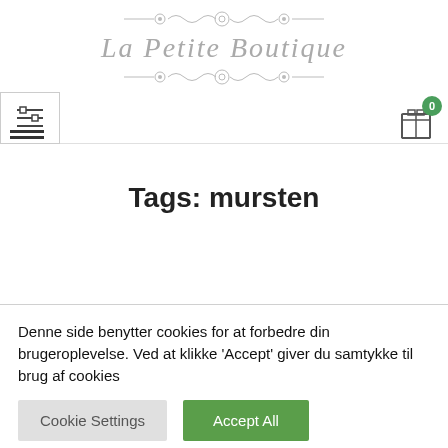La Petite Boutique
Tags: mursten
Denne side benytter cookies for at forbedre din brugeroplevelse. Ved at klikke 'Accept' giver du samtykke til brug af cookies
Cookie Settings | Accept All